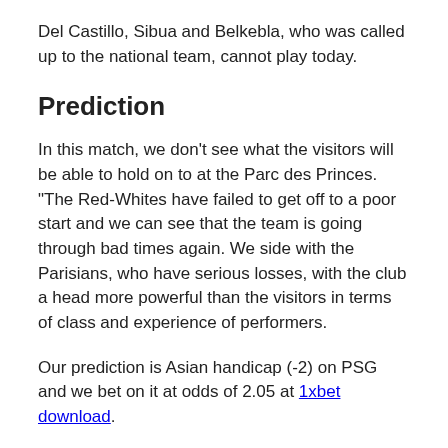Del Castillo, Sibua and Belkebla, who was called up to the national team, cannot play today.
Prediction
In this match, we don't see what the visitors will be able to hold on to at the Parc des Princes. “The Red-Whites have failed to get off to a poor start and we can see that the team is going through bad times again. We side with the Parisians, who have serious losses, with the club a head more powerful than the visitors in terms of class and experience of performers.
Our prediction is Asian handicap (-2) on PSG and we bet on it at odds of 2.05 at 1xbet download.
We assume that the fans will not be bored in this game. PSG play actively at home, while the guests may also have chances.
Second bet – total over 2 goals for 1.61